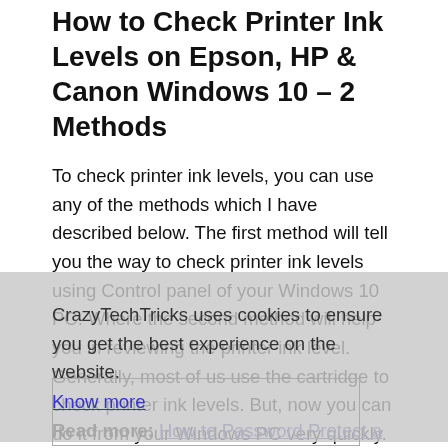How to Check Printer Ink Levels on Epson, HP & Canon Windows 10 – 2 Methods
To check printer ink levels, you can use any of the methods which I have described below. The first method will tell you the way to check printer ink levels using Control panel of your Windows 10 PC. Where the second method will help you in reviewing the printer ink level. Generally, most of us use the cartridge to check printer ink levels. But, now you can do it from your Windows PC very quickly. So, etc. check how you can check printer ink levels from below different methods.
CrazyTechTricks uses cookies to ensure you get the best experience on the website. Know more
Read more: How to Password Protect a